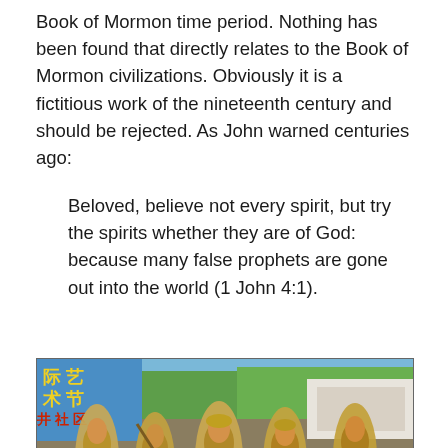Book of Mormon time period. Nothing has been found that directly relates to the Book of Mormon civilizations. Obviously it is a fictitious work of the nineteenth century and should be rejected. As John warned centuries ago:
Beloved, believe not every spirit, but try the spirits whether they are of God: because many false prophets are gone out into the world (1 John 4:1).
[Figure (photo): Performers in traditional straw/grass costumes dancing at what appears to be a Chinese cultural arts festival. A blue banner with Chinese characters and red text is visible in the background, along with green trees and a teal stage floor.]